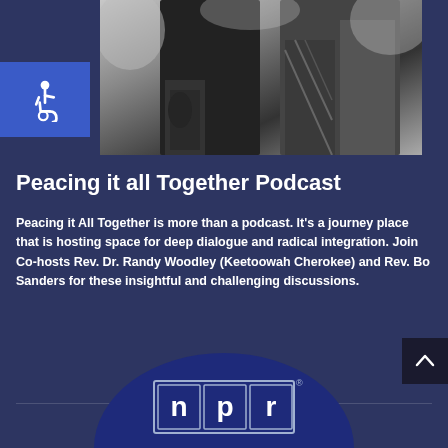[Figure (photo): Black and white photo of two people standing together, one with tattooed arms, the other in a patterned jacket]
[Figure (logo): Accessibility wheelchair icon in a blue square box]
Peacing it all Together Podcast
Peacing it All Together is more than a podcast. It's a journey place that is hosting space for deep dialogue and radical integration. Join Co-hosts Rev. Dr. Randy Woodley (Keetoowah Cherokee) and Rev. Bo Sanders for these insightful and challenging discussions.
[Figure (logo): NPR logo with letters n, p, r in white on dark boxes with a border, shown inside a dark blue semicircle at the bottom of the page]